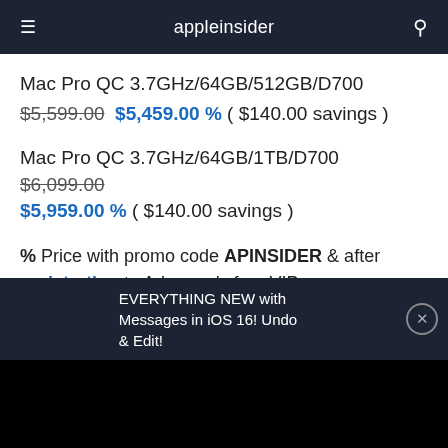appleinsider
Mac Pro QC 3.7GHz/64GB/512GB/D700 $5,599.00 $5,459.00 % ( $140.00 savings )
Mac Pro QC 3.7GHz/64GB/1TB/D700 $6,099.00 $5,959.00 % ( $140.00 savings )
% Price with promo code APINSIDER & after registration to Adorama's free VIP program (includes Free Apple Wireless Keyboard & Magic Mouse)
EVERYTHING NEW with Messages in iOS 16! Undo & Edit!